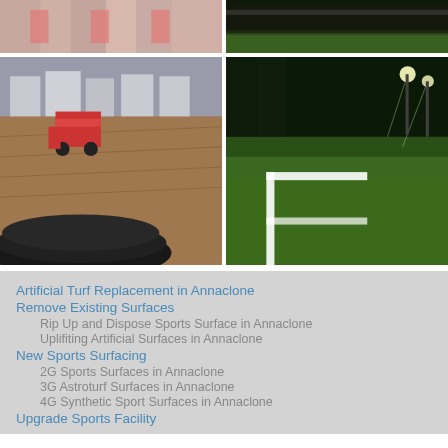[Figure (photo): Close-up of artificial turf/carpet being rolled out, showing striped pink and grey surface]
[Figure (photo): Night shot of an artificial turf sports pitch with floodlights, dark atmosphere]
[Figure (photo): Construction/installation scene with a red Bobcat loader on a sports surface base, with houses in background and rolled turf in foreground]
[Figure (photo): Night shot of finished artificial turf sports pitch with white line markings, floodlit]
Artificial Turf Replacement in Annaclone
Remove Existing Surfaces
Rip Up and Dispose Sports Surface in Annaclone
Uplifiting Artificial Surfaces in Annaclone
New Sports Surfacing
2G Sports Surfaces in Annaclone
3G Astroturf Surfaces in Annaclone
4G Synthetic Sport Surfaces in Annaclone
Upgrade Sports Facility